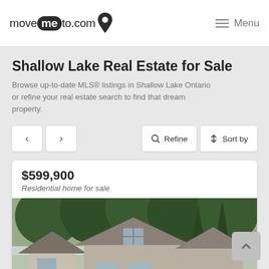movemeto.com — Menu
Shallow Lake Real Estate for Sale
Browse up-to-date MLS® listings in Shallow Lake Ontario or refine your real estate search to find that dream property.
< >  🔍 Refine  ⬆ Sort by
$599,900
Residential home for sale
[Figure (photo): Exterior photo of a residential home for sale in Shallow Lake, showing a multi-gable grey house surrounded by tall green trees and shrubs, overcast sky.]